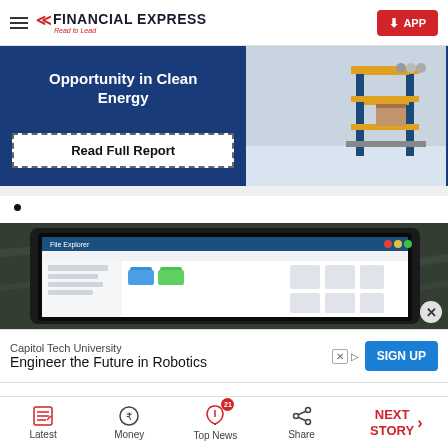Financial Express — Read to Lead | APP
[Figure (infographic): Banner advertisement: blue background with text 'Opportunity in Clean Energy' and 'Read Full Report' button, alongside industrial machinery image]
•
[Figure (photo): Laptop/tablet displaying File Explorer on Windows 11, with dark marble surface in background]
Capitol Tech University — Engineer the Future in Robotics — SIGN UP
Latest | Money | Top News 21 | Share | NEXT STORY →